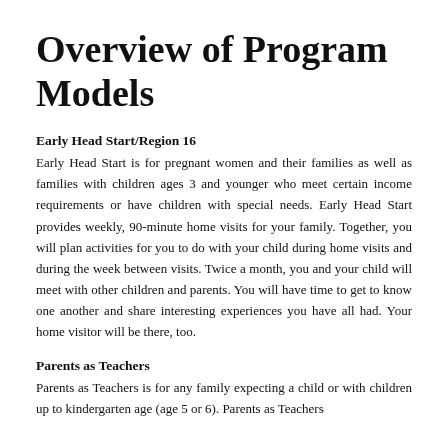Overview of Program Models
Early Head Start/Region 16
Early Head Start is for pregnant women and their families as well as families with children ages 3 and younger who meet certain income requirements or have children with special needs. Early Head Start provides weekly, 90-minute home visits for your family. Together, you will plan activities for you to do with your child during home visits and during the week between visits. Twice a month, you and your child will meet with other children and parents. You will have time to get to know one another and share interesting experiences you have all had. Your home visitor will be there, too.
Parents as Teachers
Parents as Teachers is for any family expecting a child or with children up to kindergarten age (age 5 or 6). Parents as Teachers